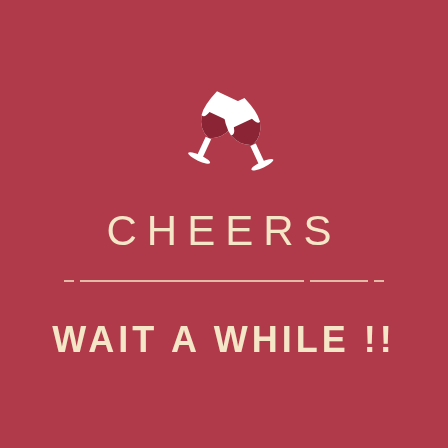[Figure (illustration): Two wine glasses clinking together, shown as white silhouette icons on dark red background]
CHEERS
[Figure (other): Decorative horizontal divider line with dashes]
WAIT A WHILE !!